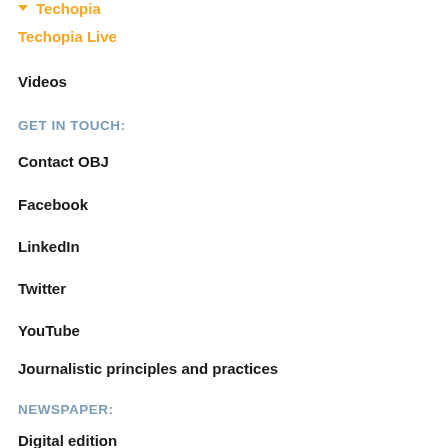Techopia
Techopia Live
Videos
GET IN TOUCH:
Contact OBJ
Facebook
LinkedIn
Twitter
YouTube
Journalistic principles and practices
NEWSPAPER:
Digital edition